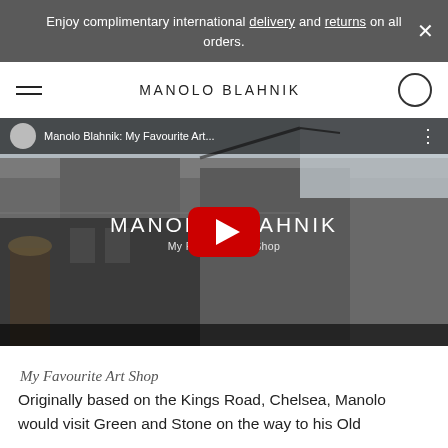Enjoy complimentary international delivery and returns on all orders.
MANOLO BLAHNIK
[Figure (screenshot): YouTube video embed showing 'Manolo Blahnik: My Favourite Art...' with a YouTube play button overlaid on a photo of a classical building facade. The video title bar shows the Manolo Blahnik channel avatar and title text. The video background shows MANOLO BLAHNIK text and 'My Favourite Art Shop' subtitle.]
My Favourite Art Shop
Originally based on the Kings Road, Chelsea, Manolo would visit Green and Stone on the way to his Old